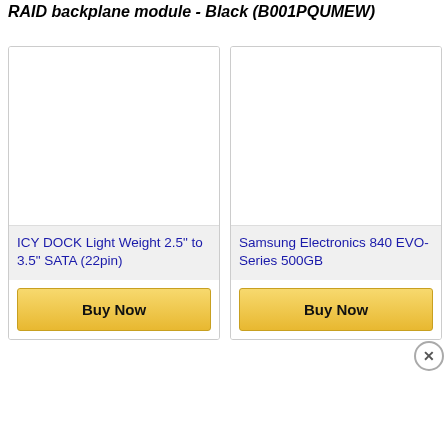RAID backplane module - Black (B001PQUMEW)
[Figure (other): Product card for ICY DOCK Light Weight 2.5" to 3.5" SATA (22pin) with Buy Now button]
[Figure (other): Product card for Samsung Electronics 840 EVO-Series 500GB with Buy Now button]